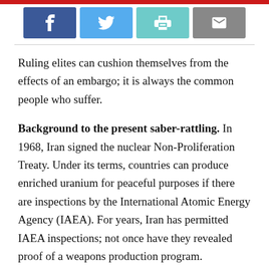[Figure (other): Social share buttons: Facebook (blue), Twitter (light blue), Print (teal), Email (gray)]
Ruling elites can cushion themselves from the effects of an embargo; it is always the common people who suffer.
Background to the present saber-rattling. In 1968, Iran signed the nuclear Non-Proliferation Treaty. Under its terms, countries can produce enriched uranium for peaceful purposes if there are inspections by the International Atomic Energy Agency (IAEA). For years, Iran has permitted IAEA inspections; not once have they revealed proof of a weapons production program.